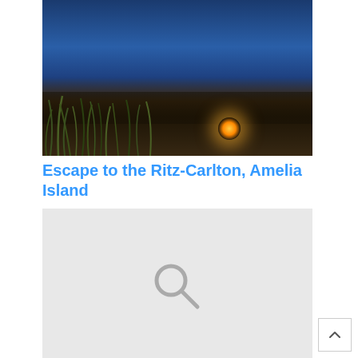[Figure (photo): Beach at dusk with sea grass and a glowing fire/light in the distance, dark blue sky]
Escape to the Ritz-Carlton, Amelia Island
[Figure (other): Gray placeholder image with a search/magnifying glass icon in the center]
Family Travel Show with Wallace Pierson Travel
[Figure (photo): Two people on horseback at the shoreline during a warm sunset, silhouetted against orange-peach sky]